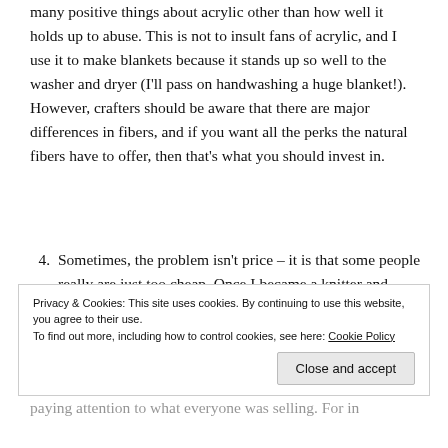many positive things about acrylic other than how well it holds up to abuse. This is not to insult fans of acrylic, and I use it to make blankets because it stands up so well to the washer and dryer (I'll pass on handwashing a huge blanket!). However, crafters should be aware that there are major differences in fibers, and if you want all the perks the natural fibers have to offer, then that's what you should invest in.
4. Sometimes, the problem isn't price – it is that some people really are just too cheap. Once I became a knitter and crocheter, I started paying attention to what everyone selling. For instance...
Privacy & Cookies: This site uses cookies. By continuing to use this website, you agree to their use. To find out more, including how to control cookies, see here: Cookie Policy
Close and accept
...paying attention... 100% merino. If you want to pay top...